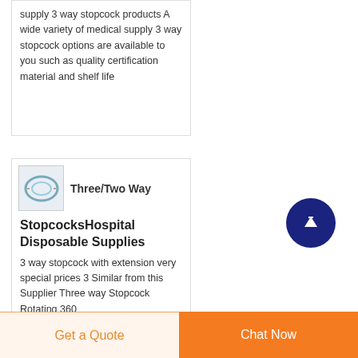supply 3 way stopcock products A wide variety of medical supply 3 way stopcock options are available to you such as quality certification material and shelf life
[Figure (photo): Small thumbnail image of a medical stopcock/IV tubing component]
Three/Two Way
StopcocksHospital Disposable Supplies
3 way stopcock with extension very special prices 3 Similar from this Supplier Three way Stopcock Rotating 360
Get a Quote    Chat Now